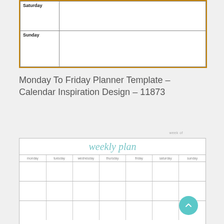[Figure (other): Bottom portion of a weekly planner template with Saturday and Sunday rows, orange border, white background]
Monday To Friday Planner Template – Calendar Inspiration Design – 11873
[Figure (other): Weekly plan template with light blue script title 'weekly plan', columns for monday, tuesday, wednesday, thursday, friday, saturday, sunday, three empty row sections, week of label top right]